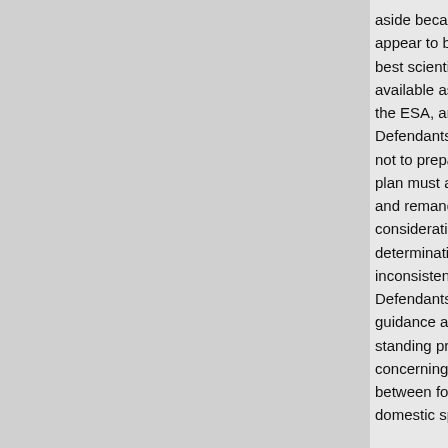aside because it did not appear to be based on best scientific evidence available as required by the ESA, and that Defendants' determination not to prepare a recovery plan must also be set aside and remanded for further consideration because the determination was inconsistent with Defendants' own policy guidance and long-standing practice concerning the distinction between foreign and domestic species.